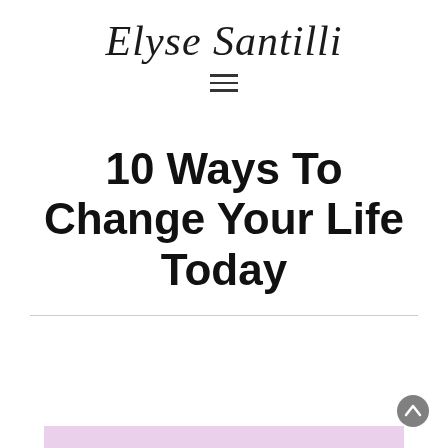Elyse Santilli
[Figure (other): Hamburger menu icon with three horizontal lines]
10 Ways To Change Your Life Today
[Figure (other): Light purple/lavender decorative bar at bottom of page]
[Figure (other): Scroll-to-top arrow button in lower right corner]